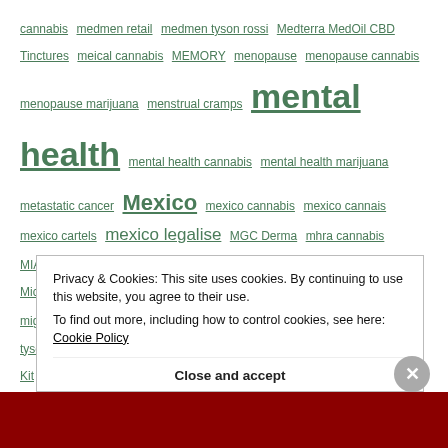cannabis medmen retail medmen tyson rossi Medterra MedOil CBD Tinctures meical cannabis MEMORY menopause menopause cannabis menopause marijuana menstrual cramps mental health mental health cannabis mental health marijuana metastatic cancer Mexico mexico cannabis mexico cannais mexico cartels mexico legalise MGC Derma mhra cannabis MIAMI michael fischer Michael Gove Michael J Fox Michael Moran Michelle Lujan Grisham michigan Midori Midori strips migraine migraine cannabis migraine marijuana migraines MIKE DOBSON mike tyson mike tyson cannabis MILEY CANNABIS MINI Cannabinoid testing Kit MINI Cannabinoid testing Kituk mining Minor Figures miracle
Privacy & Cookies: This site uses cookies. By continuing to use this website, you agree to their use. To find out more, including how to control cookies, see here: Cookie Policy
Close and accept